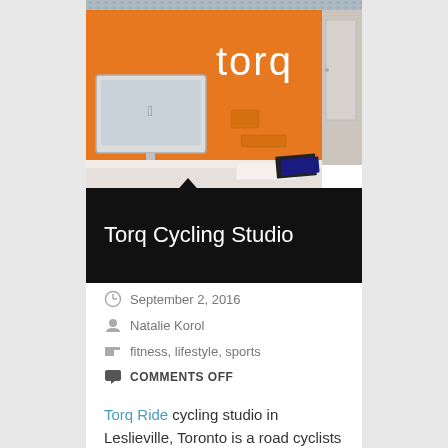[Figure (photo): Interior photo of Torq Cycling Studio showing an orange wall with 'torq' logo, an iMac on a white reception desk, and a door on the right side.]
Torq Cycling Studio
September 2, 2016
Natalie Korol
fitness, lifestyle, sports
COMMENTS OFF
Torq Ride cycling studio in Leslieville, Toronto is a road cyclists answer to beating